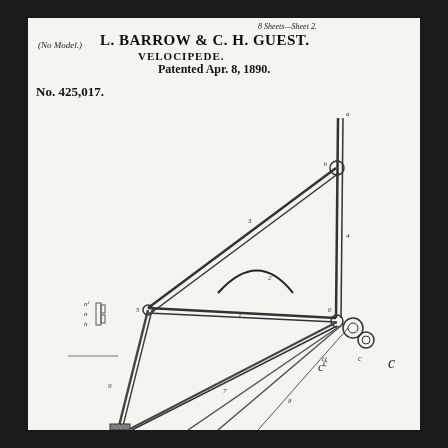8 Sheets—Sheet 2.
(No Model.)
L. BARROW & C. H. GUEST.
VELOCIPEDE.
Patented Apr. 8, 1890.
No. 425,017.
[Figure (engineering-diagram): Patent drawing Sheet 2 of a velocipede (bicycle) frame showing the frame structure with labeled parts. The diagram shows the main frame tubes, fork assembly, and mechanical connections with numbered reference labels. Visible components include the head tube area, top tube, seat tube, and rear dropout/hub area with what appear to be spring or suspension elements.]